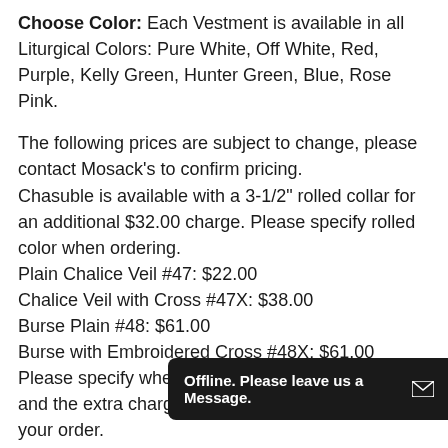Choose Color: Each Vestment is available in all Liturgical Colors: Pure White, Off White, Red, Purple, Kelly Green, Hunter Green, Blue, Rose Pink.
The following prices are subject to change, please contact Mosack's to confirm pricing. Chasuble is available with a 3-1/2" rolled collar for an additional $32.00 charge. Please specify rolled color when ordering. Plain Chalice Veil #47: $22.00 Chalice Veil with Cross #47X: $38.00 Burse Plain #48: $61.00 Burse with Embroidered Cross #48X: $61.00 Please specify when ordering, in Comments area, and the extra charge will be added after you place your order.
Beau Veste, represented by MOSACK'S Church Goods & Religious Gifts, is a family-owned and operated business making qual... since 1949.
Offline. Please leave us a Message.